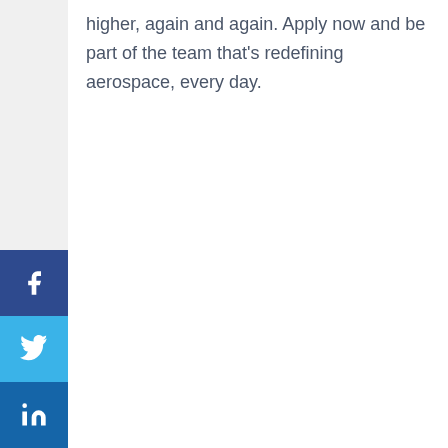higher, again and again. Apply now and be part of the team that's redefining aerospace, every day.
[Figure (infographic): Vertical social media sharing sidebar with icons for Facebook, Twitter, LinkedIn, WhatsApp, Telegram, Copy Link, and Share]